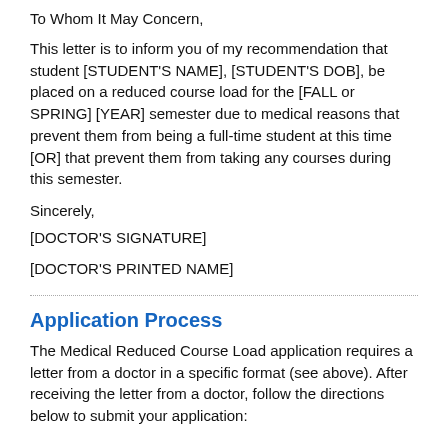To Whom It May Concern,
This letter is to inform you of my recommendation that student [STUDENT'S NAME], [STUDENT'S DOB], be placed on a reduced course load for the [FALL or SPRING] [YEAR] semester due to medical reasons that prevent them from being a full-time student at this time [OR] that prevent them from taking any courses during this semester.
Sincerely,
[DOCTOR'S SIGNATURE]
[DOCTOR'S PRINTED NAME]
Application Process
The Medical Reduced Course Load application requires a letter from a doctor in a specific format (see above). After receiving the letter from a doctor, follow the directions below to submit your application: